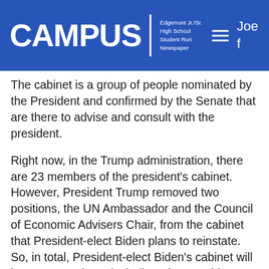CAMPUS | Edgemont Jr./Sr. High School Student Run Newspaper
The cabinet is a group of people nominated by the President and confirmed by the Senate that are there to advise and consult with the president.
Right now, in the Trump administration, there are 23 members of the president's cabinet. However, President Trump removed two positions, the UN Ambassador and the Council of Economic Advisers Chair, from the cabinet that President-elect Biden plans to reinstate. So, in total, President-elect Biden's cabinet will have 25 members, including Vice-President-elect Kamala Harris.